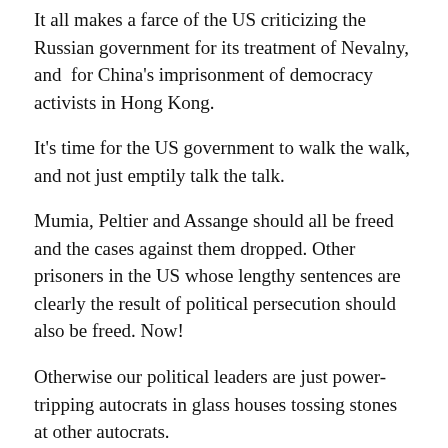It all makes a farce of the US criticizing the Russian government for its treatment of Nevalny, and for China's imprisonment of democracy activists in Hong Kong.
It's time for the US government to walk the walk, and not just emptily talk the talk.
Mumia, Peltier and Assange should all be freed and the cases against them dropped. Other prisoners in the US whose lengthy sentences are clearly the result of political persecution should also be freed. Now!
Otherwise our political leaders are just power-tripping autocrats in glass houses tossing stones at other autocrats.
Biden is so upset at Russia's treatment of prisoner Nevalny he is warning of “consequences” if Nevalny dies in prison. Vermont Senator and supposed “socialist,